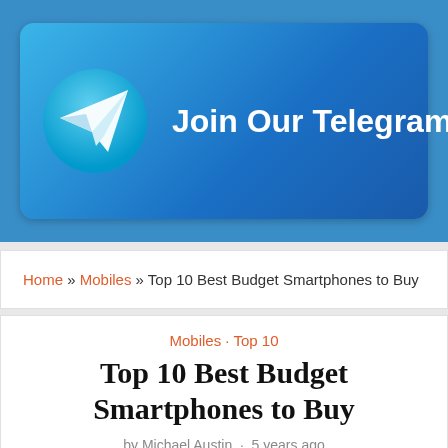[Figure (illustration): Telegram channel promotional banner with Telegram logo (circle with paper plane icon) and text 'Join Our Telegram Channel' on a blue gradient rounded rectangle background]
Home » Mobiles » Top 10 Best Budget Smartphones to Buy
Mobiles · Top 10
Top 10 Best Budget Smartphones to Buy
by Michael Austin · 5 years ago
Mobile phone users have a typical impression on a Smartphones that they are only for a certain high class of people. But the recent months had proved it all